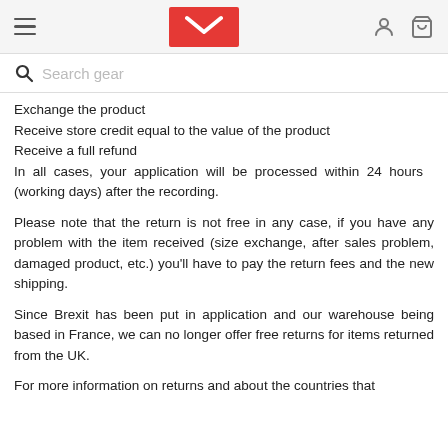Navigation header with hamburger menu, logo, user icon, and cart icon
Search gear
Exchange the product
Receive store credit equal to the value of the product
Receive a full refund
In all cases, your application will be processed within 24 hours (working days) after the recording.
Please note that the return is not free in any case, if you have any problem with the item received (size exchange, after sales problem, damaged product, etc.) you'll have to pay the return fees and the new shipping.
Since Brexit has been put in application and our warehouse being based in France, we can no longer offer free returns for items returned from the UK.
For more information on returns and about the countries that